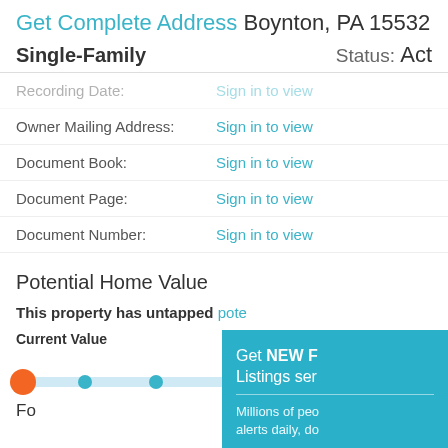Get Complete Address Boynton, PA 15532
Single-Family
Status: Act
Recording Date: Sign in to view
Owner Mailing Address: Sign in to view
Document Book: Sign in to view
Document Page: Sign in to view
Document Number: Sign in to view
Potential Home Value
This property has untapped pote
Current Value
Po
Sig
[Figure (infographic): Horizontal slider/scale showing current value (orange dot at left) through potential value range (blue dots) to a plus icon on far right]
Fo
Get NEW F
Listings ser
Millions of peo
alerts daily, do
Signup Here
No Thanks | Re